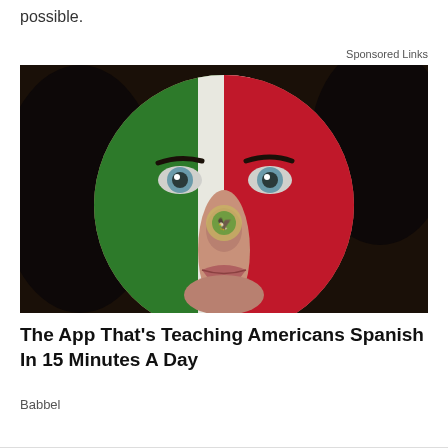possible.
Sponsored Links
[Figure (photo): Close-up portrait of a woman with face painted in the colors of the Mexican flag — green on the left side, white in the center, and red on the right. A Mexican flag emblem (eagle on cactus) is painted on her nose. She has blue-gray eyes and dark hair. Background is dark.]
The App That's Teaching Americans Spanish In 15 Minutes A Day
Babbel